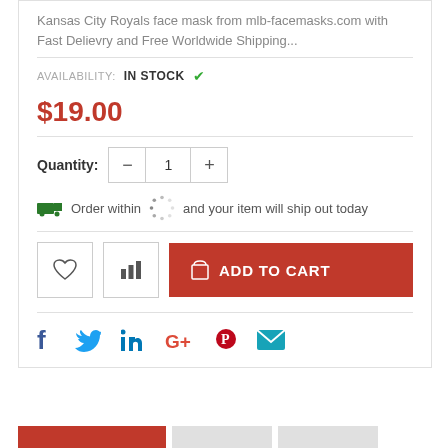Kansas City Royals face mask from mlb-facemasks.com with Fast Delievry and Free Worldwide Shipping...
AVAILABILITY: IN STOCK ✓
$19.00
Quantity: 1
Order within [spinner] and your item will ship out today
[Figure (screenshot): Action buttons row: heart wishlist icon button, bar chart icon button, and red ADD TO CART button with shopping bag icon]
[Figure (infographic): Social share icons: Facebook (blue f), Twitter (blue bird), LinkedIn (blue in), Google+ (red g+), Pinterest (red P), Email (teal envelope)]